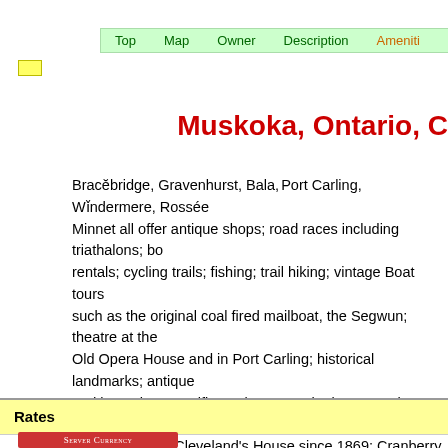Top   Map   Owner   Description   Ameniti
Muskoka, Ontario, C
Bracebridge, Gravenhurst, Bala, Port Carling, Windermere, Rosseau, Minnet all offer antique shops; road races including triathalons; boat rentals; cycling trails; fishing; trail hiking; vintage Boat tours such as the original coal fired mailboat, the Segwun; theatre at the Old Opera House and in Port Carling; historical landmarks; antique and boat shows; golfing galore at such places as The Rock; Resorts such as nearby Cleveland's House since 1869; Cranberry Festivals Bala; fishing; snowmobiling; cross country skiing and snowshoeing; farmer's markets.
Rates
[Figure (other): Server currency logo strip at bottom]